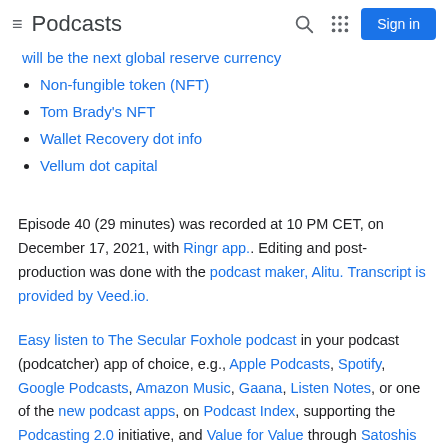Podcasts | Sign in
will be the next global reserve currency
Non-fungible token (NFT)
Tom Brady's NFT
Wallet Recovery dot info
Vellum dot capital
Episode 40 (29 minutes) was recorded at 10 PM CET, on December 17, 2021, with Ringr app.. Editing and post-production was done with the podcast maker, Alitu. Transcript is provided by Veed.io.
Easy listen to The Secular Foxhole podcast in your podcast (podcatcher) app of choice, e.g., Apple Podcasts, Spotify, Google Podcasts, Amazon Music, Gaana, Listen Notes, or one of the new podcast apps, on Podcast Index, supporting the Podcasting 2.0 initiative, and Value for Value through Satoshis Stream (Bitcoin payments). You could also listen to our podcast on our own standalone app, by download it for free on Apple App